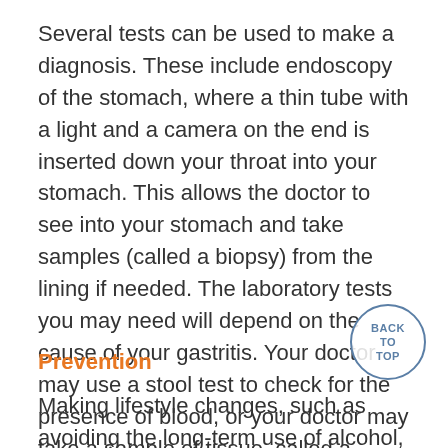Several tests can be used to make a diagnosis. These include endoscopy of the stomach, where a thin tube with a light and a camera on the end is inserted down your throat into your stomach. This allows the doctor to see into your stomach and take samples (called a biopsy) from the lining if needed. The laboratory tests you may need will depend on the cause of your gastritis. Your doctor may use a stool test to check for the presence of blood, or your doctor may take a sample of tissue, called a biopsy, from your esophagus or stomach. A breath test or a biopsy may detect H. pylori .
Prevention
Making lifestyle changes, such as avoiding the long-term use of alcohol, NSAIDs, coffee, and drugs, may help prevent gastritis and its complications (such as a peptic ulcer). Reducing stress and evaluating their